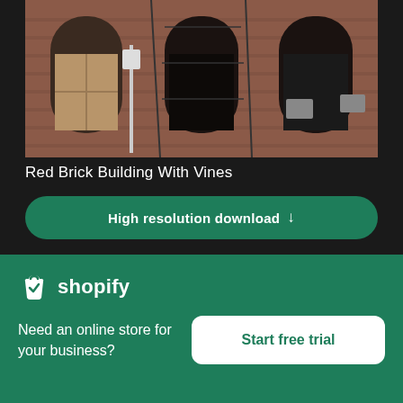[Figure (photo): Aerial view of a red brick building facade with arched windows, some boarded up, fire escapes and wires visible]
Red Brick Building With Vines
High resolution download ↓
[Figure (photo): Aerial top-down view of a busy city intersection with cars, trucks, and road markings visible]
[Figure (logo): Shopify logo with shopping bag icon and wordmark 'shopify']
Need an online store for your business?
Start free trial